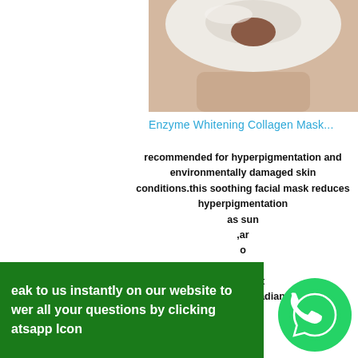[Figure (photo): Person wearing a white collagen/clay facial mask, showing neck and chest area, photographed close up against a light background]
Enzyme Whitening Collagen Mask...
recommended for hyperpigmentation and environmentally damaged skin conditions.this soothing facial mask reduces hyperpigmentation as sun ,and on leaving it refreshed and radiant....
eak to us instantly on our website to wer all your questions by clicking atsapp Icon
[Figure (logo): WhatsApp icon - green circle with white phone handset inside speech bubble]